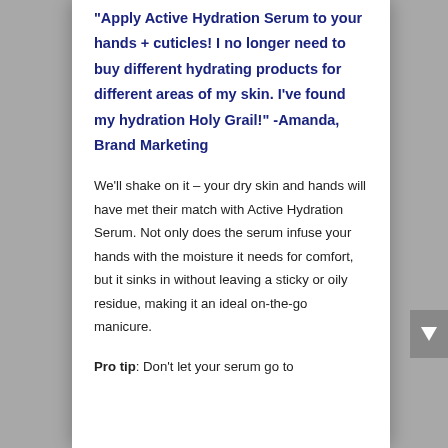"Apply Active Hydration Serum to your hands + cuticles! I no longer need to buy different hydrating products for different areas of my skin. I've found my hydration Holy Grail!" -Amanda, Brand Marketing
We'll shake on it – your dry skin and hands will have met their match with Active Hydration Serum. Not only does the serum infuse your hands with the moisture it needs for comfort, but it sinks in without leaving a sticky or oily residue, making it an ideal on-the-go manicure.
Pro tip: Don't let your serum go to waste from the hand area.